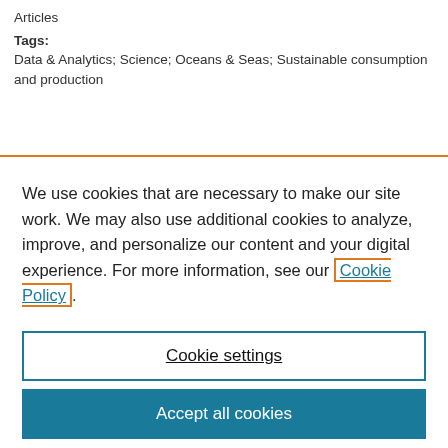Articles
Tags:
Data & Analytics; Science; Oceans & Seas; Sustainable consumption and production
We use cookies that are necessary to make our site work. We may also use additional cookies to analyze, improve, and personalize our content and your digital experience. For more information, see our Cookie Policy.
Cookie settings
Accept all cookies